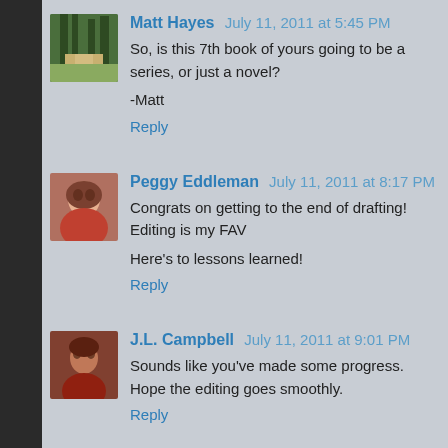Matt Hayes  July 11, 2011 at 5:45 PM
So, is this 7th book of yours going to be a series, or just a novel?
-Matt
Reply
Peggy Eddleman  July 11, 2011 at 8:17 PM
Congrats on getting to the end of drafting! Editing is my FAV
Here's to lessons learned!
Reply
J.L. Campbell  July 11, 2011 at 9:01 PM
Sounds like you've made some progress. Hope the editing goes smoothly.
Reply